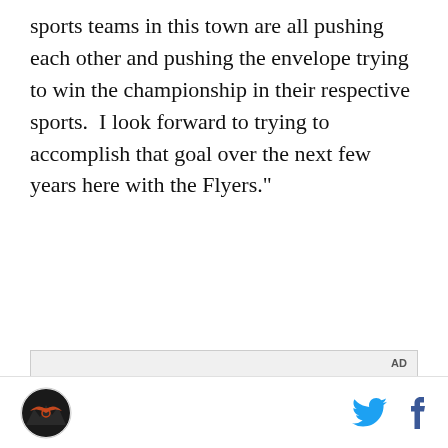sports teams in this town are all pushing each other and pushing the envelope trying to win the championship in their respective sports.  I look forward to trying to accomplish that goal over the next few years here with the Flyers."
[Figure (screenshot): Advertisement box with 'AD' label in upper right, and below it a video thumbnail showing a person holding a foldable phone in a car with text 'Unfold your world' overlaid with a play button.]
Site logo on left, Twitter and Facebook icons on right